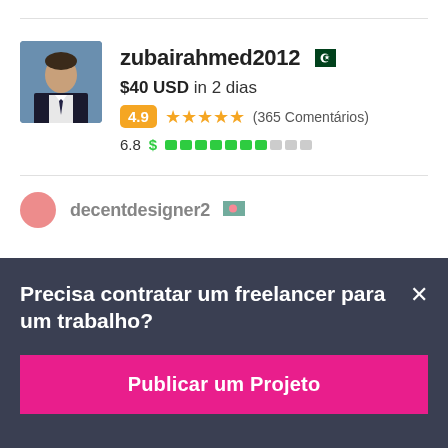[Figure (screenshot): Freelancer profile card for zubairahmed2012 with Pakistan flag, $40 USD bid in 2 days, rating 4.9 with 5 stars and 365 comments, score 6.8 with green progress bar]
zubairahmed2012
$40 USD in 2 dias
4.9 ★★★★★ (365 Comentários)
6.8
decentdesigner2
Precisa contratar um freelancer para um trabalho?
Publicar um Projeto